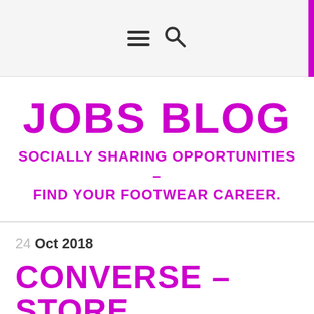≡ 🔍
JOBS BLOG
SOCIALLY SHARING OPPORTUNITIES – FIND YOUR FOOTWEAR CAREER.
24 Oct 2018
CONVERSE – STORE MANAGER – WEMBLEY LONDON